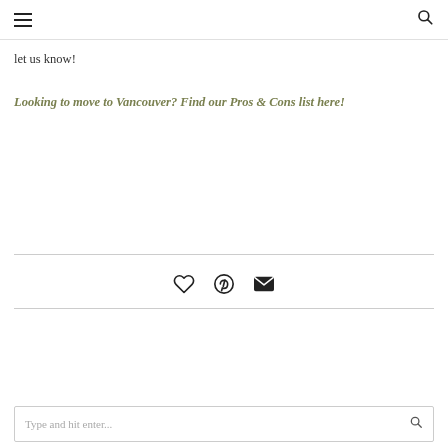[hamburger menu] [search icon]
let us know!
Looking to move to Vancouver? Find our Pros & Cons list here!
[Figure (infographic): Social sharing icons: heart (like), Pinterest, and email envelope]
Type and hit enter...